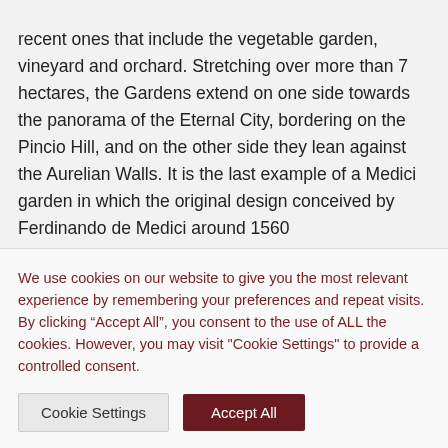recent ones that include the vegetable garden, vineyard and orchard. Stretching over more than 7 hectares, the Gardens extend on one side towards the panorama of the Eternal City, bordering on the Pincio Hill, and on the other side they lean against the Aurelian Walls. It is the last example of a Medici garden in which the original design conceived by Ferdinando de Medici around 1560
We use cookies on our website to give you the most relevant experience by remembering your preferences and repeat visits. By clicking “Accept All”, you consent to the use of ALL the cookies. However, you may visit “Cookie Settings” to provide a controlled consent.